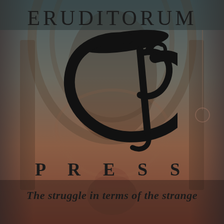[Figure (logo): Eruditorum Press logo page with decorative fantasy background artwork showing archways and a figure, overlaid with the EP monogram logo in black, the text ERUDITORUM at top, PRESS in spaced letters, and the tagline 'The struggle in terms of the strange' in italic bold at bottom.]
ERUDITORUM
P R E S S
The struggle in terms of the strange